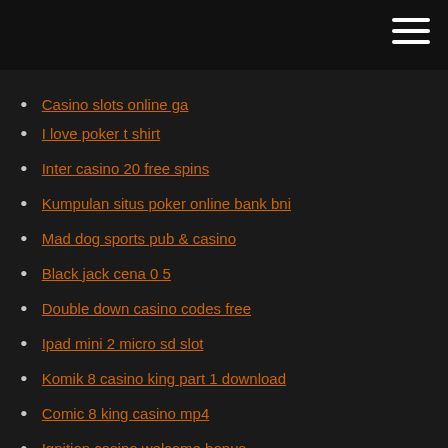Casino slots online ga
I love poker t shirt
Inter casino 20 free spins
Kumpulan situs poker online bank bni
Mad dog sports pub & casino
Black jack cena 0 5
Double down casino codes free
Ipad mini 2 micro sd slot
Komik 8 casino king part 1 download
Comic 8 king casino mp4
Ignition casino welcome bonus
Avi casino koa rv park
Tropicana online casino nj remove credit card
Golden nugget casino biloxi pool
Ace blackjack calls case